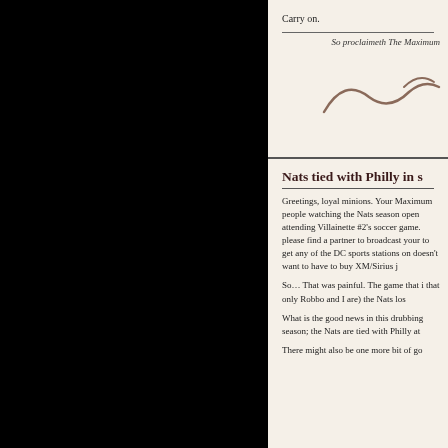Carry on.
So proclaimeth The Maximum
[Figure (illustration): A handwritten signature or cursive script in brownish ink, partially visible]
Nats tied with Philly in s
Greetings, loyal minions. Your Maximum people watching the Nats season open attending Villainette #2's soccer game. please find a partner to broadcast your to get any of the DC sports stations on doesn't want to have to buy XM/Sirius j
So… That was painful. The game that i that only Robbo and I are) the Nats los
What is the good news in this drubbing season; the Nats are tied with Philly at
There might also be one more bit of go